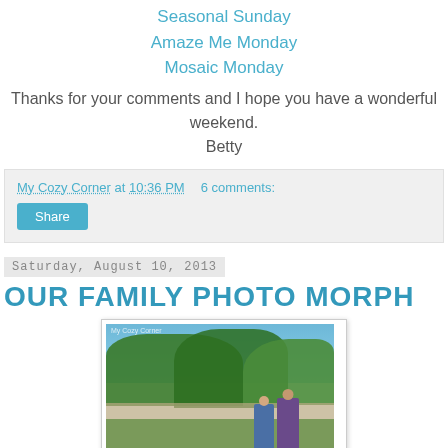Seasonal Sunday
Amaze Me Monday
Mosaic Monday
Thanks for your comments and I hope you have a wonderful weekend.
Betty
My Cozy Corner at 10:36 PM   6 comments:
Share
Saturday, August 10, 2013
OUR FAMILY PHOTO MORPH
[Figure (photo): Outdoor family photo showing two people standing in a backyard with green trees and fence in background under blue sky. Small watermark reads 'My Cozy Corner' in top left.]